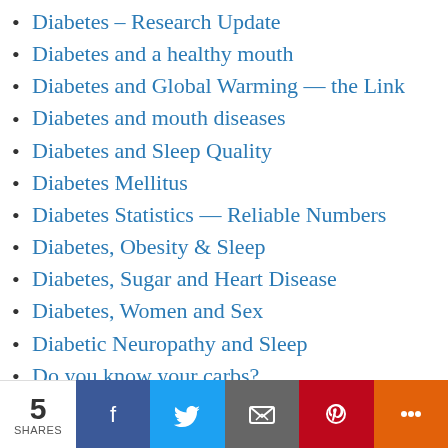Diabetes – Research Update
Diabetes and a healthy mouth
Diabetes and Global Warming — the Link
Diabetes and mouth diseases
Diabetes and Sleep Quality
Diabetes Mellitus
Diabetes Statistics — Reliable Numbers
Diabetes, Obesity & Sleep
Diabetes, Sugar and Heart Disease
Diabetes, Women and Sex
Diabetic Neuropathy and Sleep
Do you know your carbs?
Do you know your fats?
Do you know your proteins?
Does diabetes cause hearing loss?
5 SHARES | Facebook | Twitter | Email | Pinterest | More